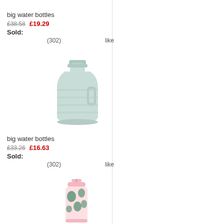big water bottles
£38.58  £19.29
Sold:
(302)   like
[Figure (photo): A large mint/light green plastic water jug with a flip-top lid and handle cutout]
big water bottles
£33.26  £16.63
Sold:
(302)   like
[Figure (photo): A pink water bottle with floral/leaf pattern print and a pink straw lid]